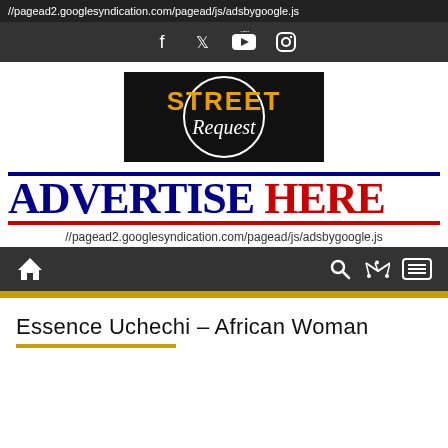//pagead2.googlesyndication.com/pagead/js/adsbygoogle.js
[Figure (illustration): Social media icons bar: Facebook, Twitter, YouTube, Instagram icons in white on dark background]
[Figure (logo): Street Request logo - black background with orange and white grunge text on circular emblem]
[Figure (infographic): Advertise Here banner with navy blue ADVERTISE and red HERE text, framed by double horizontal lines in navy and red]
//pagead2.googlesyndication.com/pagead/js/adsbygoogle.js
[Figure (screenshot): Navigation bar with home icon on left, search, shuffle, and menu icons on right, dark background]
Essence Uchechi – African Woman